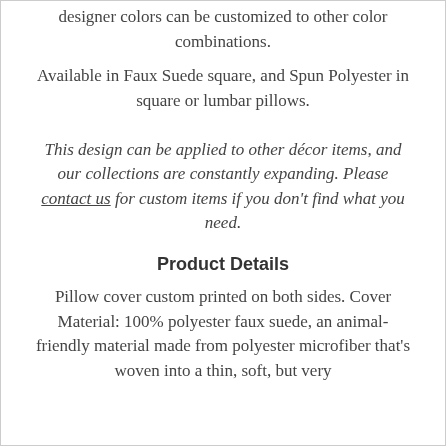designer colors can be customized to other color combinations.
Available in Faux Suede square, and Spun Polyester in square or lumbar pillows.
This design can be applied to other décor items, and our collections are constantly expanding. Please contact us for custom items if you don't find what you need.
Product Details
Pillow cover custom printed on both sides. Cover Material: 100% polyester faux suede, an animal-friendly material made from polyester microfiber that's woven into a thin, soft, but very